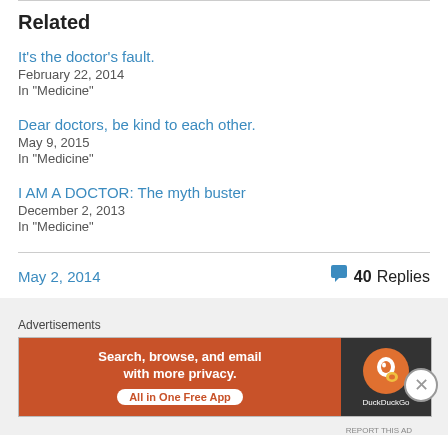Related
It's the doctor's fault.
February 22, 2014
In "Medicine"
Dear doctors, be kind to each other.
May 9, 2015
In "Medicine"
I AM A DOCTOR: The myth buster
December 2, 2013
In "Medicine"
May 2, 2014
40 Replies
[Figure (screenshot): DuckDuckGo advertisement banner: 'Search, browse, and email with more privacy. All in One Free App' with DuckDuckGo logo on dark background]